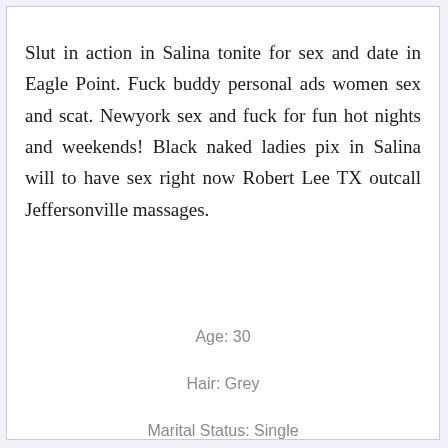Slut in action in Salina tonite for sex and date in Eagle Point. Fuck buddy personal ads women sex and scat. Newyork sex and fuck for fun hot nights and weekends! Black naked ladies pix in Salina will to have sex right now Robert Lee TX outcall Jeffersonville massages.
Age: 30
Hair: Grey
Marital Status: Single
Name: Pigalicious727